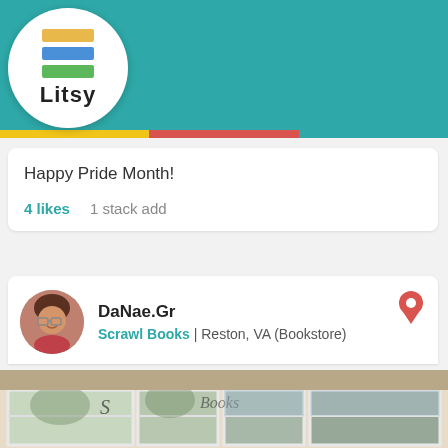[Figure (screenshot): Litsy app logo with colorful stacked books icon and 'Litsy' text]
[Figure (screenshot): App navigation bar with home, search, plus, lightning, and profile icons on teal background]
Happy Pride Month!
4 likes   1 stack add
DaNae.Gr
Scrawl Books | Reston, VA (Bookstore)
[Figure (photo): Exterior photo of Scrawl Books bookstore storefront in Reston, VA showing large windows with the store name visible]